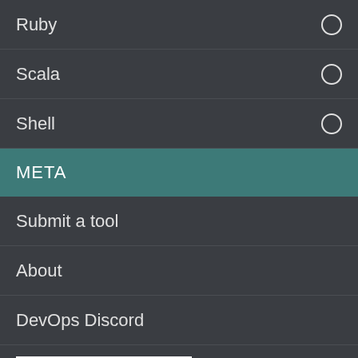Ruby
Scala
Shell
META
Submit a tool
About
DevOps Discord
Search..
Cronitor
Monitor cron jobs, daemons and almost anything else. No more silent failures.
[Figure (infographic): Row of small platform/technology icons: Linux penguin, Windows grid, dot/circle, fork icon, book/terminal icon, dollar sign]
free, linux, monitoring, python, realtime, cron, heartbeat, time